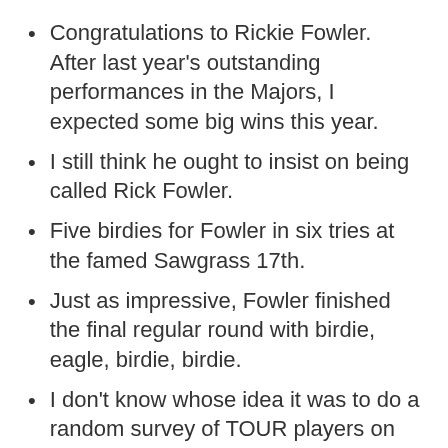Congratulations to Rickie Fowler. After last year's outstanding performances in the Majors, I expected some big wins this year.
I still think he ought to insist on being called Rick Fowler.
Five birdies for Fowler in six tries at the famed Sawgrass 17th.
Just as impressive, Fowler finished the final regular round with birdie, eagle, birdie, birdie.
I don’t know whose idea it was to do a random survey of TOUR players on who was “Most